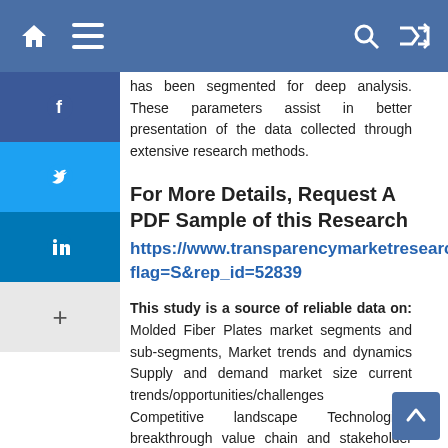Navigation header with home, menu, search, and random icons
has been segmented for deep analysis. These parameters assist in better presentation of the data collected through extensive research methods.
For More Details, Request A PDF Sample of this Research
https://www.transparencymarketresearch.com/sample/sample.php?flag=S&rep_id=52839
This study is a source of reliable data on: Molded Fiber Plates market segments and sub-segments, Market trends and dynamics Supply and demand market size current trends/opportunities/challenges Competitive landscape Technological breakthrough value chain and stakeholder analysis
The regional analysis covers: North America (U.S. and Canada), Latin America (Mexico, Brazil, Peru, Chile, and others), Western Europe (Germany, U.K., France, Spain, Italy, Nordic countries